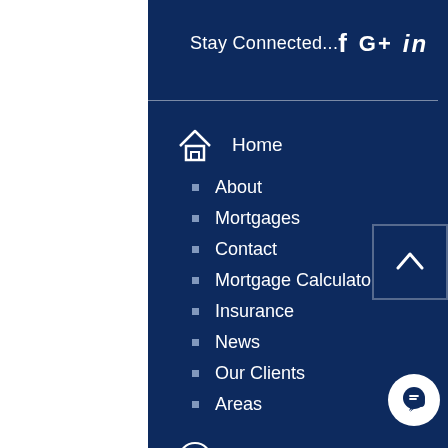Stay Connected...  f  G+  in
Home
About
Mortgages
Contact
Mortgage Calculator
Insurance
News
Our Clients
Areas
Legal
Compliance